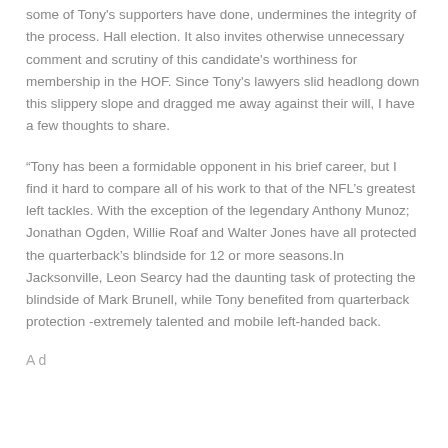some of Tony's supporters have done, undermines the integrity of the process. Hall election. It also invites otherwise unnecessary comment and scrutiny of this candidate's worthiness for membership in the HOF. Since Tony's lawyers slid headlong down this slippery slope and dragged me away against their will, I have a few thoughts to share.
“Tony has been a formidable opponent in his brief career, but I find it hard to compare all of his work to that of the NFL’s greatest left tackles. With the exception of the legendary Anthony Munoz; Jonathan Ogden, Willie Roaf and Walter Jones have all protected the quarterback’s blindside for 12 or more seasons.In Jacksonville, Leon Searcy had the daunting task of protecting the blindside of Mark Brunell, while Tony benefited from quarterback protection -extremely talented and mobile left-handed back.
A d